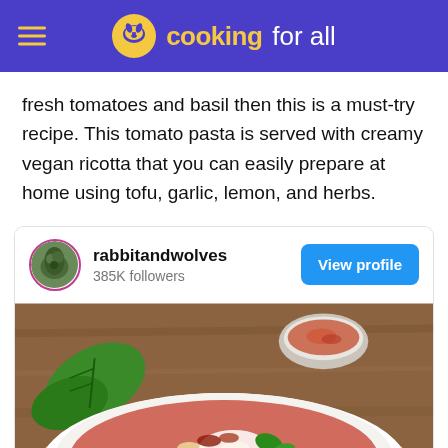cooking for all
fresh tomatoes and basil then this is a must-try recipe. This tomato pasta is served with creamy vegan ricotta that you can easily prepare at home using tofu, garlic, lemon, and herbs.
[Figure (infographic): Social media profile card for 'rabbitandwolves' with 385K followers, a View profile button, and a food photo showing pasta in a white bowl with basil leaves and red pepper flakes on a wooden table.]